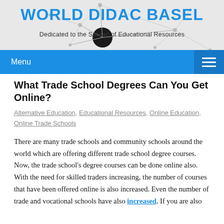WORLD DIDAC BASEL
Dedicated to the Spread of Educational Resources
What Trade School Degrees Can You Get Online?
Alternative Education, Educational Resources, Online Education, Online Trade Schools
There are many trade schools and community schools around the world which are offering different trade school degree courses. Now, the trade school's degree courses can be done online also. With the need for skilled traders increasing, the number of courses that have been offered online is also increased. Even the number of trade and vocational schools have also increased. If you are also